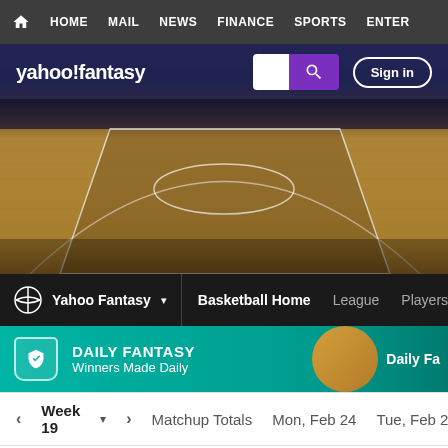HOME  MAIL  NEWS  FINANCE  SPORTS  ENTER...
[Figure (screenshot): Yahoo Fantasy basketball homepage screenshot showing logo bar with search and sign in, basketball court hero image, secondary navigation with Yahoo Fantasy brand and Basketball Home/League/Players/Draft links, Daily Fantasy Winners Made Daily banner, week 19 matchup navigation bar, and partial player name 'Nathaniel Cella']
yahoo!fantasy
Sign in
Yahoo Fantasy ▾   Basketball Home   League   Players   Draft
DAILY FANTASY
Winners Made Daily
Daily Fa...
‹  Week 19 ›    Matchup Totals   Mon, Feb 24   Tue, Feb 25
Nathaniel Celle